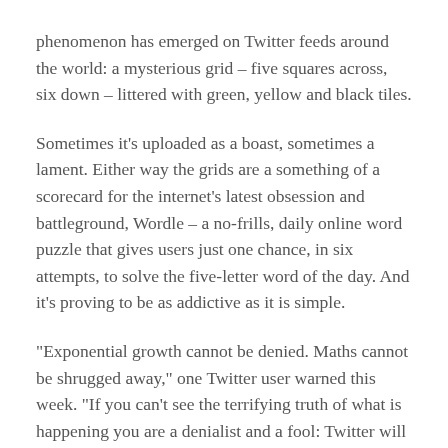phenomenon has emerged on Twitter feeds around the world: a mysterious grid – five squares across, six down – littered with green, yellow and black tiles.
Sometimes it's uploaded as a boast, sometimes a lament. Either way the grids are a something of a scorecard for the internet's latest obsession and battleground, Wordle – a no-frills, daily online word puzzle that gives users just one chance, in six attempts, to solve the five-letter word of the day. And it's proving to be as addictive as it is simple.
"Exponential growth cannot be denied. Maths cannot be shrugged away," one Twitter user warned this week. "If you can't see the terrifying truth of what is happening you are a denialist and a fool: Twitter will be 98.7% Wordle by Tuesday."